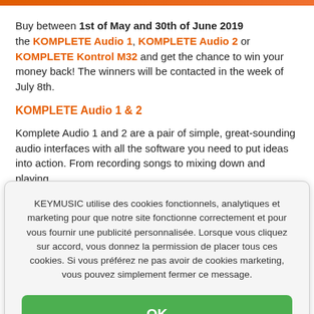Buy between 1st of May and 30th of June 2019 the KOMPLETE Audio 1, KOMPLETE Audio 2 or KOMPLETE Kontrol M32 and get the chance to win your money back! The winners will be contacted in the week of July 8th.
KOMPLETE Audio 1 & 2
Komplete Audio 1 and 2 are a pair of simple, great-sounding audio interfaces with all the software you need to put ideas into action. From recording songs to mixing down and playing
KEYMUSIC utilise des cookies fonctionnels, analytiques et marketing pour que notre site fonctionne correctement et pour vous fournir une publicité personnalisée. Lorsque vous cliquez sur accord, vous donnez la permission de placer tous ces cookies. Si vous préférez ne pas avoir de cookies marketing, vous pouvez simplement fermer ce message.
OK
Close